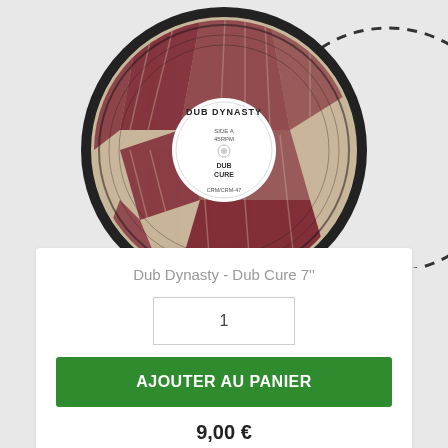[Figure (photo): A vinyl record (7 inch) showing 'Dub Dynasty' label with tan/brown and dark red geometric art print sleeve. The white center label reads 'DUB DYNASTY' at top, with 'DUB CURE' text and catalog number. Right side partially cut off with dashed border circle.]
Dub Dynasty - Dub Cure 7''
1
AJOUTER AU PANIER
9,00 €
[Figure (photo): Partial view of a second vinyl record at the bottom of the page, showing a red and black design with a creature/lion motif and a dotted circular border.]